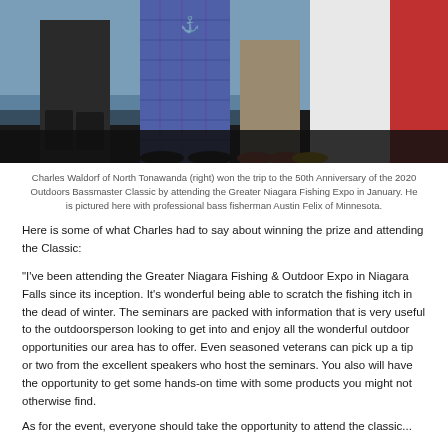[Figure (photo): Photo showing people standing, including a person in blue plaid pants and others partially visible, taken at what appears to be an indoor event on a blue carpet/floor area.]
Charles Waldorf of North Tonawanda (right) won the trip to the 50th Anniversary of the 2020 Outdoors Bassmaster Classic by attending the Greater Niagara Fishing Expo in January. He is pictured here with professional bass fisherman Austin Felix of Minnesota.
Here is some of what Charles had to say about winning the prize and attending the Classic:
"I've been attending the Greater Niagara Fishing & Outdoor Expo in Niagara Falls since its inception. It's wonderful being able to scratch the fishing itch in the dead of winter. The seminars are packed with information that is very useful to the outdoorsperson looking to get into and enjoy all the wonderful outdoor opportunities our area has to offer. Even seasoned veterans can pick up a tip or two from the excellent speakers who host the seminars. You also will have the opportunity to get some hands-on time with some products you might not otherwise find.
As for the event, everyone should take the opportunity to attend the classic...